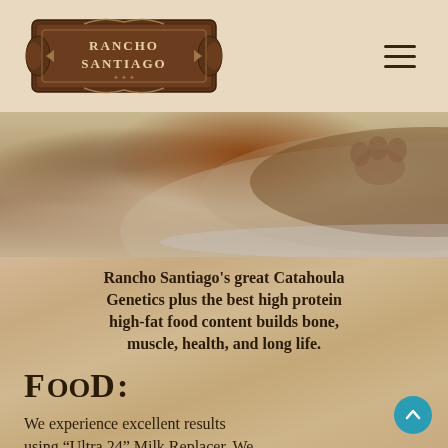[Figure (logo): Rancho Santiago logo — ornate brown badge/shield shape with decorative scroll flourishes and text RANCHO SANTIAGO in the center]
[Figure (photo): Close-up photo of a dog or animal with paws visible near what appears to be a feeding bowl or container filled with food/grain]
Rancho Santiago's great Catahoula Genetics plus the best high protein high-fat food content builds bone, muscle, health, and long life.
FOOD:
We experience excellent results using “Ultra 24” Milk Replacer. We buy it at Gebos or a farm supply store. Flood high protein/fat dog